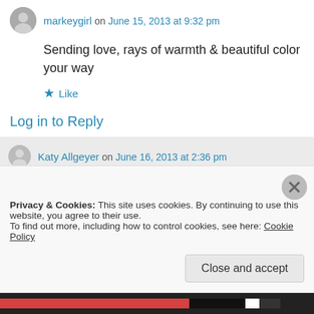markeygirl on June 15, 2013 at 9:32 pm
Sending love, rays of warmth & beautiful color your way
Like
Log in to Reply
Katy Allgeyer on June 16, 2013 at 2:36 pm
Ellen, your poetic email today brought
Privacy & Cookies: This site uses cookies. By continuing to use this website, you agree to their use.
To find out more, including how to control cookies, see here: Cookie Policy
Close and accept